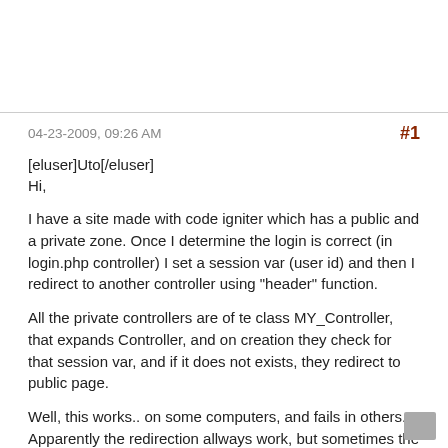04-23-2009, 09:26 AM
#1
[eluser]Uto[/eluser]
Hi,
I have a site made with code igniter which has a public and a private zone. Once I determine the login is correct (in login.php controller) I set a session var (user id) and then I redirect to another controller using "header" function.
All the private controllers are of te class MY_Controller, that expands Controller, and on creation they check for that session var, and if it does not exists, they redirect to public page.
Well, this works.. on some computers, and fails in others. Apparently the redirection allways work, but sometimes the session values are missing. After checking in 4 machines I have this results: